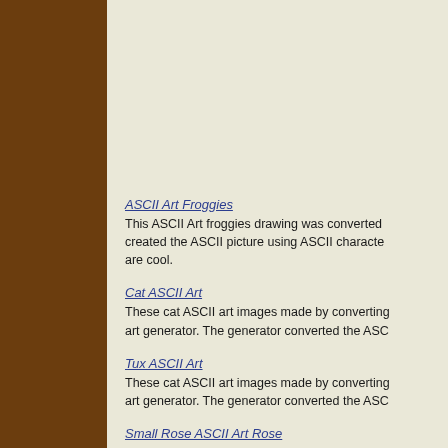ASCII Art Froggies
This ASCII Art froggies drawing was converted created the ASCII picture using ASCII characte are cool.
Cat ASCII Art
These cat ASCII art images made by converting art generator. The generator converted the ASC
Tux ASCII Art
These cat ASCII art images made by converting art generator. The generator converted the ASC
Small Rose ASCII Art Rose
The small ASCII Art Rose images are made by generator downloaded. The generator converte